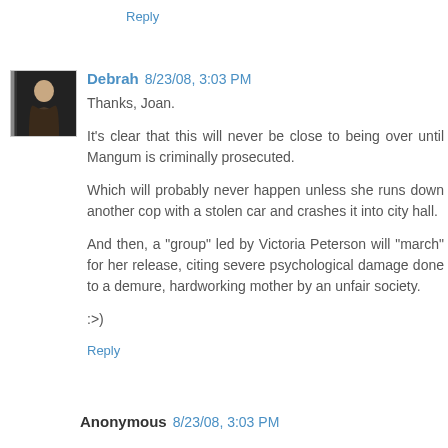Reply
Debrah 8/23/08, 3:03 PM
Thanks, Joan.

It's clear that this will never be close to being over until Mangum is criminally prosecuted.

Which will probably never happen unless she runs down another cop with a stolen car and crashes it into city hall.

And then, a "group" led by Victoria Peterson will "march" for her release, citing severe psychological damage done to a demure, hardworking mother by an unfair society.

:>)
Reply
Anonymous 8/23/08, 3:03 PM